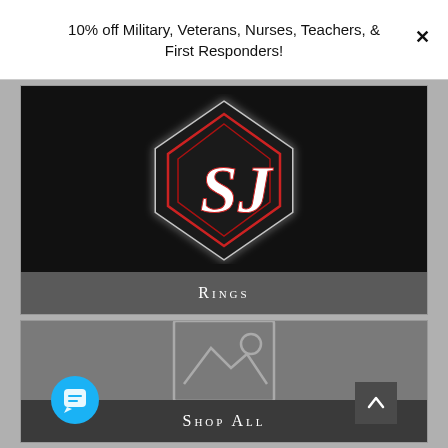10% off Military, Veterans, Nurses, Teachers, & First Responders!
[Figure (logo): SJ brand logo — a diamond/pentagon shield shape with red neon outline on black background, with stylized 'SJ' letters in white and red]
Rings
[Figure (photo): Placeholder image icon (mountains and sun outline) on gray background]
Shop All